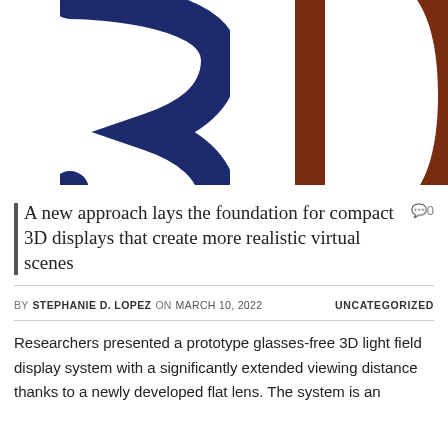[Figure (illustration): Partial view of large stylized '3D' text graphic. The '3' is rendered in dark navy/blue color on the left, and the 'D' is rendered in dark brown/rust color on the right. Only the lower portions of the characters are visible as the image is cropped at the top.]
A new approach lays the foundation for compact 3D displays that create more realistic virtual scenes
BY STEPHANIE D. LOPEZ ON MARCH 10, 2022   UNCATEGORIZED
Researchers presented a prototype glasses-free 3D light field display system with a significantly extended viewing distance thanks to a newly developed flat lens. The system is an